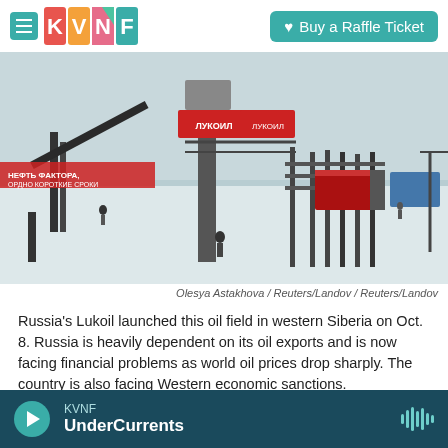KVNF logo with Buy a Raffle Ticket button
[Figure (photo): Lukoil oil field in western Siberia in winter, featuring industrial towers and structures with Lukoil branding, snowy ground, workers visible]
Olesya Astakhova / Reuters/Landov / Reuters/Landov
Russia's Lukoil launched this oil field in western Siberia on Oct. 8. Russia is heavily dependent on its oil exports and is now facing financial problems as world oil prices drop sharply. The country is also facing Western economic sanctions.
KVNF UnderCurrents